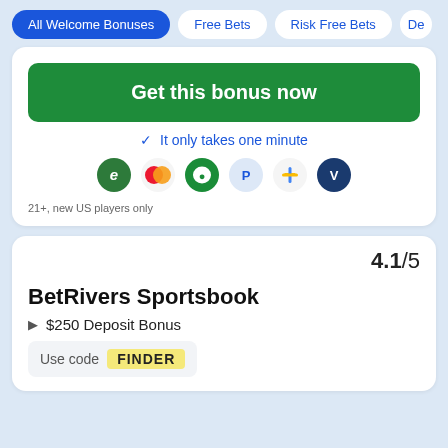All Welcome Bonuses | Free Bets | Risk Free Bets | De...
Get this bonus now
✓ It only takes one minute
[Figure (other): Payment method icons: ecoPayz, Mastercard, Messenger, PayPal, Google Pay, Venmo]
21+, new US players only
4.1/5
BetRivers Sportsbook
$250 Deposit Bonus
Use code FINDER